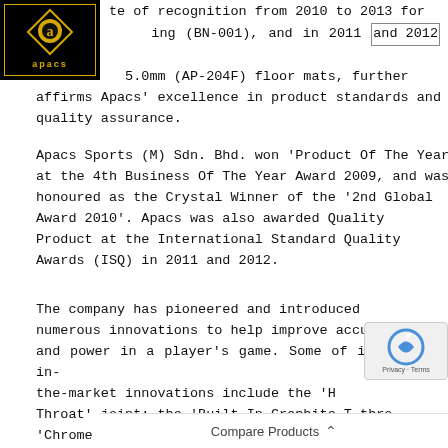[Figure (logo): Apacs logo: black square with gold letter A inside a diamond shape and gold text 'apacs' below, gold border around inner area]
certificate of recognition from 2010 to 2013 for badminton netting (BN-001), and in 2011 and 2012 for badminton 5.0mm (AP-204F) floor mats, further affirms Apacs' excellence in product standards and quality assurance.
Apacs Sports (M) Sdn. Bhd. won 'Product Of The Year' at the 4th Business Of The Year Award 2009, and was honoured as the Crystal Winner of the '2nd Global Award 2010'. Apacs was also awarded Quality Product at the International Standard Quality Awards (ISQ) in 2011 and 2012.
The company has pioneered and introduced numerous innovations to help improve accuracy and power in a player's game. Some of its first-in-the-market innovations include the 'H[ ]Throat' joint; the 'Built-In Graphite T-thro[ ] 'Chrome Brai[ ] [ ]ed Jacquard'